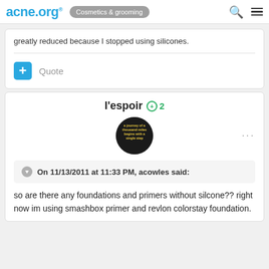acne.org® Cosmetics & grooming
greatly reduced because I stopped using silicones.
Quote
l'espoir  +2
[Figure (photo): User avatar: circular dark image with yellow text reading 'a journey of a thousand miles begins with a single step']
On 11/13/2011 at 11:33 PM, acowles said:
so are there any foundations and primers without silcone?? right now im using smashbox primer and revlon colorstay foundation.